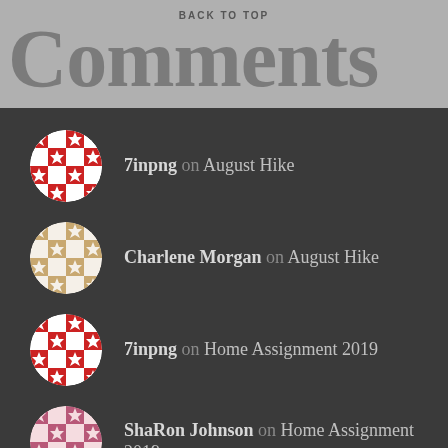BACK TO TOP
Comments
7inpng on August Hike
Charlene Morgan on August Hike
7inpng on Home Assignment 2019
ShaRon Johnson on Home Assignment 2019
7inpng on Home Assignment 2019